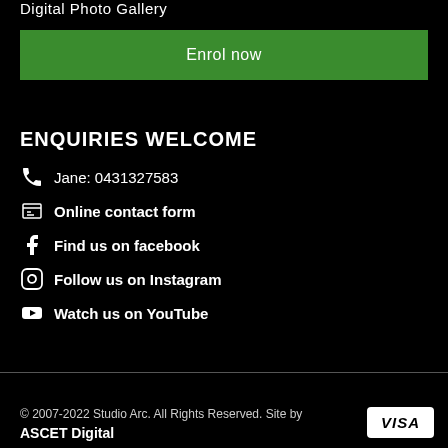Digital Photo Gallery
Enrol now
ENQUIRIES WELCOME
Jane: 0431327583
Online contact form
Find us on facebook
Follow us on Instagram
Watch us on YouTube
© 2007-2022 Studio Arc. All Rights Reserved. Site by ASCET Digital